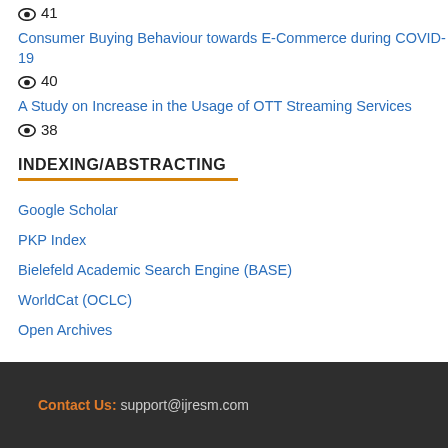👁 41
Consumer Buying Behaviour towards E-Commerce during COVID-19
👁 40
A Study on Increase in the Usage of OTT Streaming Services
👁 38
INDEXING/ABSTRACTING
Google Scholar
PKP Index
Bielefeld Academic Search Engine (BASE)
WorldCat (OCLC)
Open Archives
Contact Us: support@ijresm.com